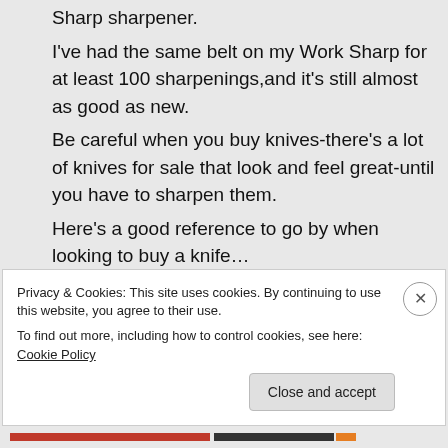Sharp sharpener.
I've had the same belt on my Work Sharp for at least 100 sharpenings,and it's still almost as good as new.
Be careful when you buy knives-there's a lot of knives for sale that look and feel great-until you have to sharpen them.
Here's a good reference to go by when looking to buy a knife…
Click to access
Privacy & Cookies: This site uses cookies. By continuing to use this website, you agree to their use.
To find out more, including how to control cookies, see here: Cookie Policy
Close and accept